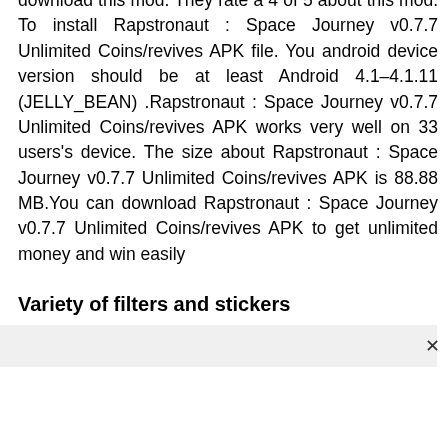download this mod. They rate a 4 of 5 about this mod. To install Rapstronaut : Space Journey v0.7.7 Unlimited Coins/revives APK file. You android device version should be at least Android 4.1–4.1.11 (JELLY_BEAN) .Rapstronaut : Space Journey v0.7.7 Unlimited Coins/revives APK works very well on 33 users's device. The size about Rapstronaut : Space Journey v0.7.7 Unlimited Coins/revives APK is 88.88 MB.You can download Rapstronaut : Space Journey v0.7.7 Unlimited Coins/revives APK to get unlimited money and win easily
Variety of filters and stickers